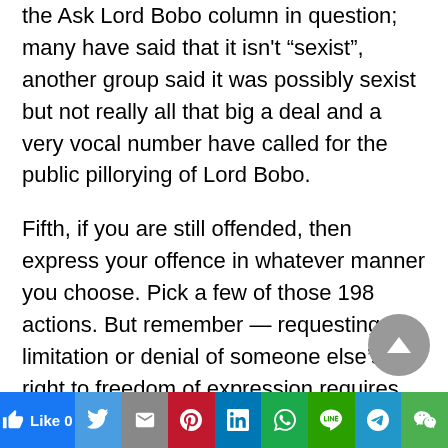the Ask Lord Bobo column in question; many have said that it isn't “sexist”, another group said it was possibly sexist but not really all that big a deal and a very vocal number have called for the public pillorying of Lord Bobo.
Fifth, if you are still offended, then express your offence in whatever manner you choose. Pick a few of those 198 actions. But remember — requesting the limitation or denial of someone else’s right to freedom of expression requires some justification beyond your personal angst.
His Supreme Eminenceness would invite anyone
Like 0  [Twitter] [Gmail] [Pinterest] [LinkedIn] [WhatsApp] [Line] [Telegram] [WeChat]